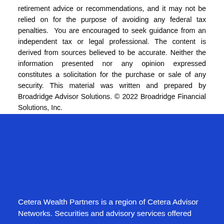retirement advice or recommendations, and it may not be relied on for the purpose of avoiding any federal tax penalties. You are encouraged to seek guidance from an independent tax or legal professional. The content is derived from sources believed to be accurate. Neither the information presented nor any opinion expressed constitutes a solicitation for the purchase or sale of any security. This material was written and prepared by Broadridge Advisor Solutions. © 2022 Broadridge Financial Solutions, Inc.
Cetera Wealth Partners is a region of Cetera Advisor Networks. Securities and advisory services offered